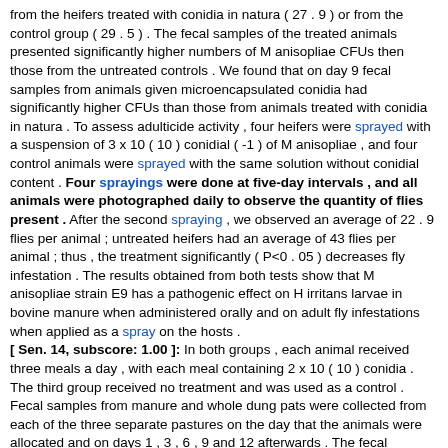from the heifers treated with conidia in natura ( 27 . 9 ) or from the control group ( 29 . 5 ) . The fecal samples of the treated animals presented significantly higher numbers of M anisopliae CFUs then those from the untreated controls . We found that on day 9 fecal samples from animals given microencapsulated conidia had significantly higher CFUs than those from animals treated with conidia in natura . To assess adulticide activity , four heifers were sprayed with a suspension of 3 x 10 ( 10 ) conidial ( -1 ) of M anisopliae , and four control animals were sprayed with the same solution without conidial content . Four sprayings were done at five-day intervals , and all animals were photographed daily to observe the quantity of flies present . After the second spraying , we observed an average of 22 . 9 flies per animal ; untreated heifers had an average of 43 flies per animal ; thus , the treatment significantly ( P<0 . 05 ) decreases fly infestation . The results obtained from both tests show that M anisopliae strain E9 has a pathogenic effect on H irritans larvae in bovine manure when administered orally and on adult fly infestations when applied as a spray on the hosts . [ Sen. 14, subscore: 1.00 ]: In both groups , each animal received three meals a day , with each meal containing 2 x 10 ( 10 ) conidia . The third group received no treatment and was used as a control . Fecal samples from manure and whole dung pats were collected from each of the three separate pastures on the day that the animals were allocated and on days 1 , 3 , 6 , 9 and 12 afterwards . The fecal samples were tested for the presence of fungal colony forming units ( CFU ) , and the emergence of horn flies was observed in the dung pats . Significantly less ( P<0 . 01 ) adult horn flies were found in dung pats of the group treated with encapsulated fungi ( 11 . 7 ) than in those from the heifers treated with conidia in natura ( 27 . 9 ) or from the control group ( 29 . 5 ) . The fecal samples of the treated animals presented significantly higher numbers of